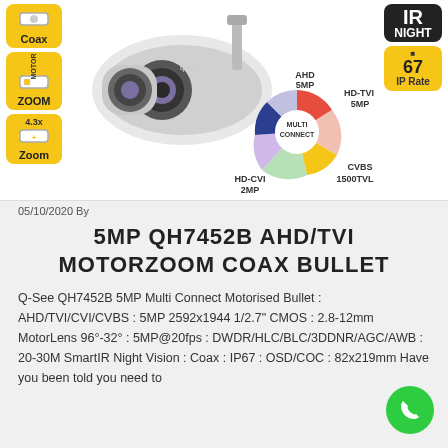[Figure (illustration): Coax icon badge - yellow rounded rectangle with coax cable icon]
[Figure (illustration): Motor Zoom icon badge - yellow rounded rectangle with motor zoom icon]
[Figure (illustration): 4.3x Zoom icon badge - yellow rounded rectangle with zoom icon]
[Figure (photo): Q-See brand bullet security camera in white/grey color with motor zoom lens]
[Figure (infographic): Multi Connect pie chart showing AHD 5MP, HD-TVI 5MP, CVBS 1500TVL, HD-CVI 2MP segments with Multi Connect center label]
[Figure (illustration): IR Night icon - dark badge with IR NIGHT text]
[Figure (illustration): IP Rate 67 badge - yellow rounded rectangle with 67 IP Rate]
05/10/2020 By
5MP QH7452B AHD/TVI MOTORZOOM COAX BULLET
Q-See QH7452B 5MP Multi Connect Motorised Bullet : AHD/TVI/CVI/CVBS : 5MP 2592x1944 1/2.7" CMOS : 2.8-12mm MotorLens 96°-32° : 5MP@20fps : DWDR/HLC/BLC/3DDNR/AGC/AWB : 20-30M SmartIR Night Vision : Coax : IP67 : OSD/COC : 82x219mm Have you been told you need to